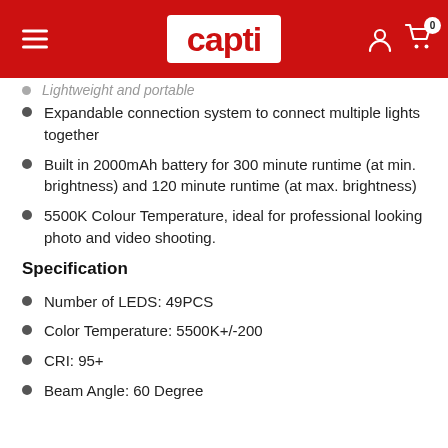capti
Lightweight and portable
Expandable connection system to connect multiple lights together
Built in 2000mAh battery for 300 minute runtime (at min. brightness) and 120 minute runtime (at max. brightness)
5500K Colour Temperature, ideal for professional looking photo and video shooting.
Specification
Number of LEDS: 49PCS
Color Temperature: 5500K+/-200
CRI: 95+
Beam Angle: 60 Degree